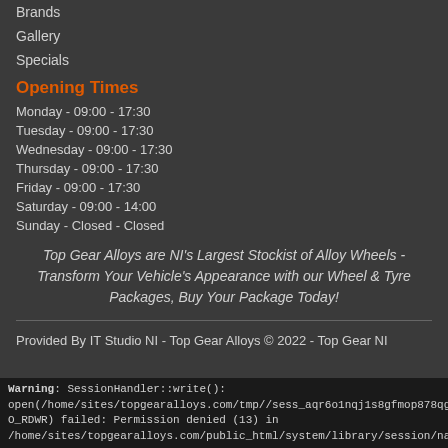Brands
Gallery
Specials
Opening Times
Monday - 09:00 - 17:30
Tuesday - 09:00 - 17:30
Wednesday - 09:00 - 17:30
Thursday - 09:00 - 17:30
Friday - 09:00 - 17:30
Saturday - 09:00 - 14:00
Sunday - Closed - Closed
Top Gear Alloys are NI's Largest Stockist of Alloy Wheels - Transform Your Vehicle's Appearance with our Wheel & Tyre Packages, Buy Your Package Today!
Provided By IT Studio NI - Top Gear Alloys © 2022 - Top Gear NI
Warning: SessionHandler::write(): open(/home/sites/topgearalloys.com/tmp//sess_aqr6o1nqj1s8gfmop878qgo73, O_RDWR) failed: Permission denied (13) in /home/sites/topgearalloys.com/public_html/system/library/session/native.p